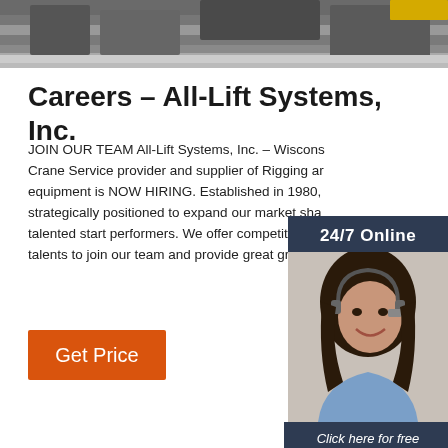[Figure (photo): Top banner photo showing industrial/warehouse setting with equipment]
Careers – All-Lift Systems, Inc.
JOIN OUR TEAM All-Lift Systems, Inc. – Wisconsin Crane Service provider and supplier of Rigging and equipment is NOW HIRING. Established in 1980, strategically positioned to expand our market share with talented start performers. We offer competitive wages to talents to join our team and provide great group b...
[Figure (photo): Sidebar with 24/7 Online banner, woman with headset customer service photo, Click here for free chat! text, and QUOTATION button]
Get Price